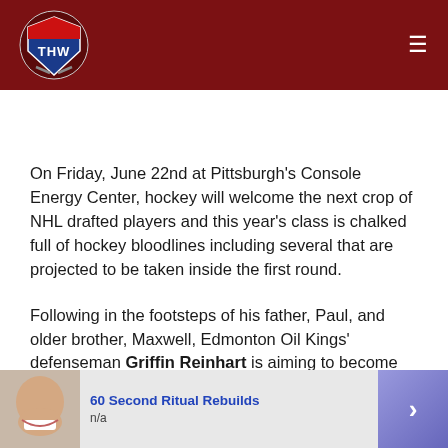THW Hockey Writers
On Friday, June 22nd at Pittsburgh's Console Energy Center, hockey will welcome the next crop of NHL drafted players and this year's class is chalked full of hockey bloodlines including several that are projected to be taken inside the first round.
Following in the footsteps of his father, Paul, and older brother, Maxwell, Edmonton Oil Kings' defenseman Griffin Reinhart is aiming to become the next Reinhart to don an NHL jersey. Drafted 12th overall in 1979, Paul Reinhart played nine seasons
60 Second Ritual Rebuilds
n/a